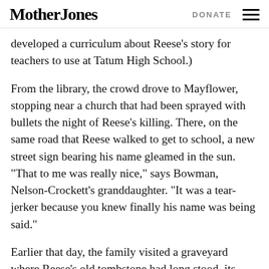Mother Jones | DONATE
developed a curriculum about Reese's story for teachers to use at Tatum High School.)
From the library, the crowd drove to Mayflower, stopping near a church that had been sprayed with bullets the night of Reese's killing. There, on the same road that Reese walked to get to school, a new street sign bearing his name gleamed in the sun. “That to me was really nice,” says Bowman, Nelson-Crockett’s granddaughter. “It was a tear-jerker because you knew finally his name was being said.”
Earlier that day, the family visited a graveyard where Reese’s old tombstone had long stood, its hand-carved epitaph stating the wrong date of death.